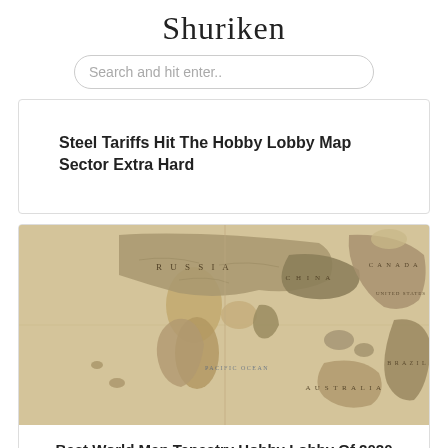Shuriken
Search and hit enter..
Steel Tariffs Hit The Hobby Lobby Map Sector Extra Hard
[Figure (map): Vintage-style world map showing continents with country borders, decorated with antique color palette. Labels visible include RUSSIA, CHINA, CANADA, AUSTRALIA, BRAZIL, UNITED STATES, PACIFIC OCEAN.]
Best World Map Tapestry Hobby Lobby Of 2020 Reviews By Experts